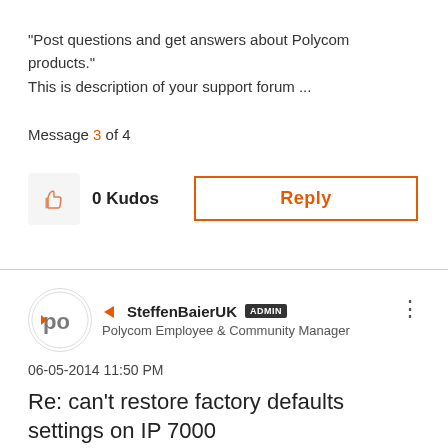"Post questions and get answers about Polycom products." This is description of your support forum ...
Message 3 of 4
0 Kudos
Reply
SteffenBaierUK ADMIN
Polycom Employee & Community Manager
06-05-2014 11:50 PM
Re: can't restore factory defaults settings on IP 7000